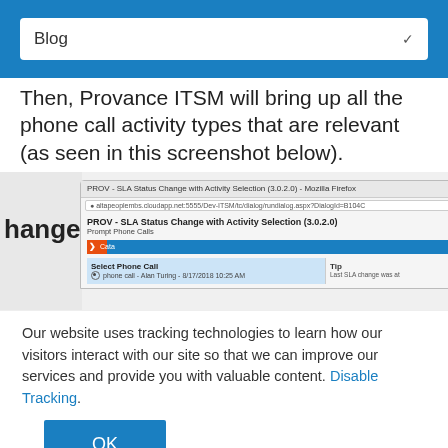Blog
Then, Provance ITSM will bring up all the phone call activity types that are relevant (as seen in this screenshot below).
[Figure (screenshot): Screenshot of PROV - SLA Status Change with Activity Selection (3.0.2.0) dialog in Mozilla Firefox, showing a phone call selection interface with 'Select Phone Call' list and 'Tip' panel on the right.]
Our website uses tracking technologies to learn how our visitors interact with our site so that we can improve our services and provide you with valuable content. Disable Tracking.